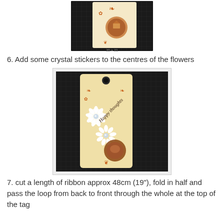[Figure (photo): Close-up photo of a craft tag with orange decorative stamps and a circular embellishment, placed on a dark grid cutting mat.]
6. Add some crystal stickers to the centres of the flowers
[Figure (photo): Photo of a craft gift tag with orange floral and scroll stamps, white daisy flowers with crystal centres, text 'Happy thoughts', and a round brown embellishment at bottom. Tag is on a dark grid cutting mat.]
7. cut a length of ribbon approx 48cm (19"), fold in half and pass the loop from back to front through the whole at the top of the tag